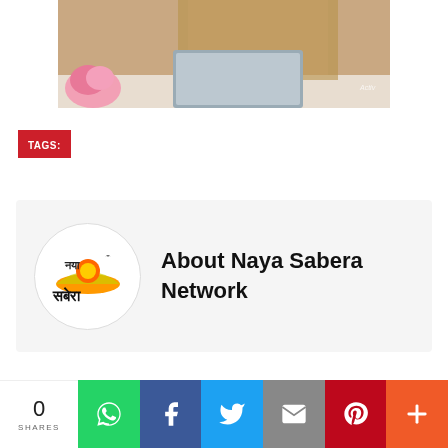[Figure (photo): Person using a tablet/laptop at a desk with a flower, wearing a golden patterned outfit. Watermark 'Activ' visible in lower right corner.]
TAGS:
[Figure (logo): Naya Sabera Network logo — circular logo with Hindi text 'नया सबेरा' and a sunrise graphic.]
About Naya Sabera Network
0 SHARES | WhatsApp | Facebook | Twitter | Email | Pinterest | More